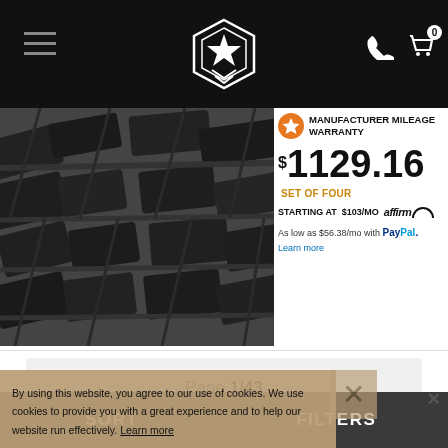Navigation header with logo, hamburger menu, phone icon, and cart (0)
[Figure (photo): Close-up photo of a tire tread pattern, black and white]
MANUFACTURER MILEAGE WARRANTY
$1129.16 SET OF FOUR
STARTING AT $103/MO affirm
As low as $56.38/mo with PayPal. Learn more
Page 1/43
Previous  Next
By using this website, you agree to our use of cookies. We use cookies to provide you with a great experience and to help our website run effectively. Learn more
Selected Wheel Size: 20x10 -24mm
SORT  FILTERS